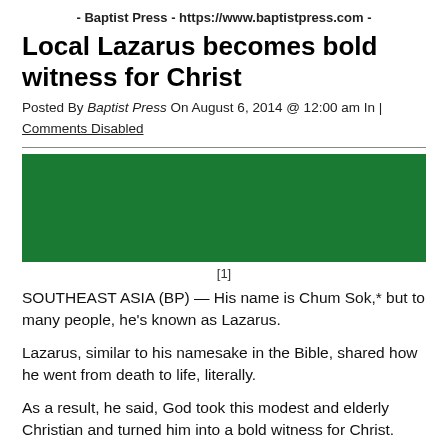- Baptist Press - https://www.baptistpress.com -
Local Lazarus becomes bold witness for Christ
Posted By Baptist Press On August 6, 2014 @ 12:00 am In | Comments Disabled
[Figure (photo): Green rectangular image block, appears to be a photo with a mostly dark green/obscured background.]
[1]
SOUTHEAST ASIA (BP) — His name is Chum Sok,* but to many people, he's known as Lazarus.
Lazarus, similar to his namesake in the Bible, shared how he went from death to life, literally.
As a result, he said, God took this modest and elderly Christian and turned him into a bold witness for Christ.